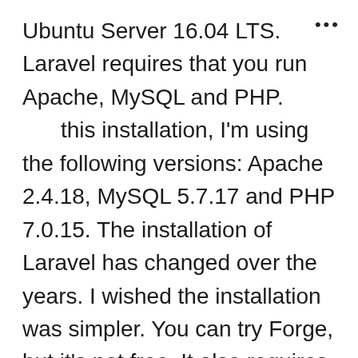Ubuntu Server 16.04 LTS. Laravel requires that you run Apache, MySQL and PHP. this installation, I'm using the following versions: Apache 2.4.18, MySQL 5.7.17 and PHP 7.0.15. The installation of Laravel has changed over the years. I wished the installation was simpler. You can try Forge, but it's not free. It also requires that you have an account at Linode, Digital Ocean or AWS. Forge costs $15 per month and Forge Plus is $30 per month. If you don't want to pay, I'm afraid you are going to